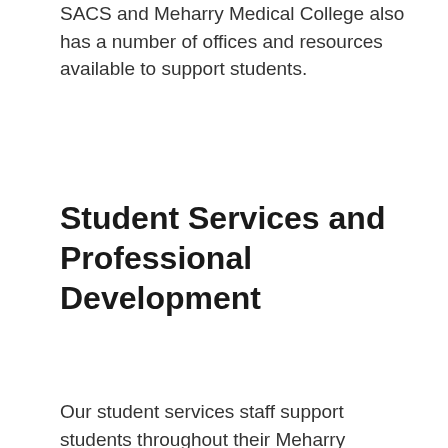SACS and Meharry Medical College also has a number of offices and resources available to support students.
Student Services and Professional Development
Our student services staff support students throughout their Meharry experience as advisors